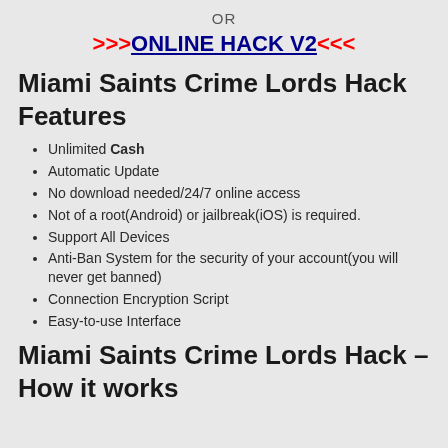OR
>>>ONLINE HACK V2<<<
Miami Saints Crime Lords Hack Features
Unlimited Cash
Automatic Update
No download needed/24/7 online access
Not of a root(Android) or jailbreak(iOS) is required.
Support All Devices
Anti-Ban System for the security of your account(you will never get banned)
Connection Encryption Script
Easy-to-use Interface
Miami Saints Crime Lords Hack – How it works